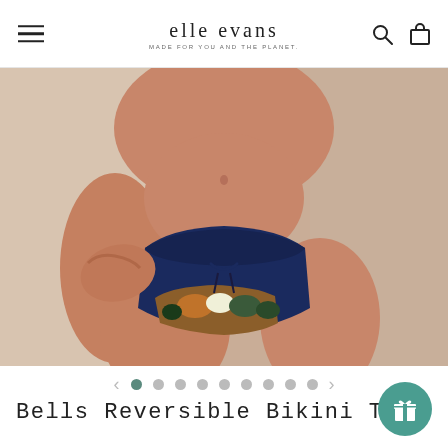elle evans — MADE FOR YOU AND THE PLANET
[Figure (photo): Close-up photo of a woman wearing a navy blue reversible bikini bottom with tropical floral print detail and a drawstring tie at the front. The model is posing with hand on hip against a light background.]
Bells Reversible Bikini Top